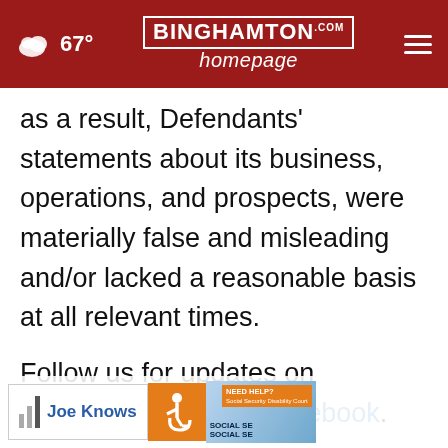67° BINGHAMTON homepage.com
as a result, Defendants' statements about its business, operations, and prospects, were materially false and misleading and/or lacked a reasonable basis at all relevant times.
Follow us for updates on LinkedIn, Twitter, or Facebook.
If you purchased or otherwise acquired Humbl securities during the Class Period, you may move the C... quest appointment as lead plaintiff in this putative